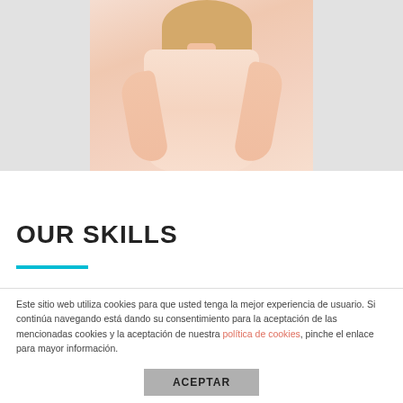[Figure (photo): Photo of a woman wearing a light pink/peach dress or top, with blonde hair, centered on a light gray background.]
OUR SKILLS
Este sitio web utiliza cookies para que usted tenga la mejor experiencia de usuario. Si continúa navegando está dando su consentimiento para la aceptación de las mencionadas cookies y la aceptación de nuestra política de cookies, pinche el enlace para mayor información.